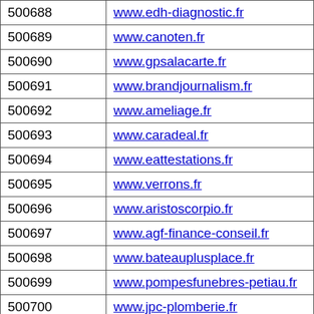| ID | URL |
| --- | --- |
| 500688 | www.edh-diagnostic.fr |
| 500689 | www.canoten.fr |
| 500690 | www.gpsalacarte.fr |
| 500691 | www.brandjournalism.fr |
| 500692 | www.ameliage.fr |
| 500693 | www.caradeal.fr |
| 500694 | www.eattestations.fr |
| 500695 | www.verrons.fr |
| 500696 | www.aristoscorpio.fr |
| 500697 | www.agf-finance-conseil.fr |
| 500698 | www.bateauplusplace.fr |
| 500699 | www.pompesfunebres-petiau.fr |
| 500700 | www.jpc-plomberie.fr |
| 500701 | www.sam-sol.fr |
| 500702 | www.mozaick.fr |